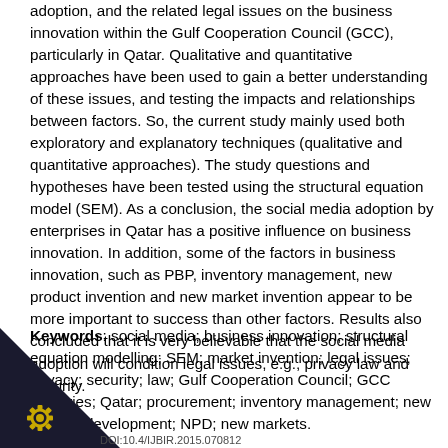adoption, and the related legal issues on the business innovation within the Gulf Cooperation Council (GCC), particularly in Qatar. Qualitative and quantitative approaches have been used to gain a better understanding of these issues, and testing the impacts and relationships between factors. So, the current study mainly used both exploratory and explanatory techniques (qualitative and quantitative approaches). The study questions and hypotheses have been tested using the structural equation model (SEM). As a conclusion, the social media adoption by enterprises in Qatar has a positive influence on business innovation. In addition, some of the factors in business innovation, such as PBP, inventory management, new product invention and new market invention appear to be more important to success than other factors. Results also concluded that it is very believable that the social media adoption will condition legal issues, e.g., privacy law and security.
Keywords: social media; business innovation; structural equation modelling; SEM; market invention; legal issues; privacy; security; law; Gulf Cooperation Council; GCC countries; Qatar; procurement; inventory management; new product development; NPD; new markets.
DOI:10.4/IJBIR.2015.070812